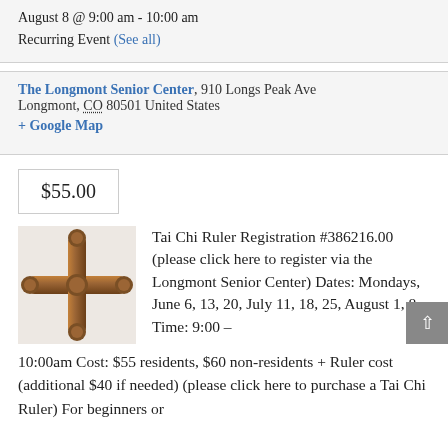August 8 @ 9:00 am - 10:00 am
Recurring Event (See all)
The Longmont Senior Center, 910 Longs Peak Ave Longmont, CO 80501 United States + Google Map
$55.00
[Figure (photo): A wooden Tai Chi Ruler cross-shaped exercise tool on a white surface]
Tai Chi Ruler Registration #386216.00 (please click here to register via the Longmont Senior Center) Dates: Mondays, June 6, 13, 20, July 11, 18, 25, August 1, 8 Time: 9:00 – 10:00am Cost: $55 residents, $60 non-residents + Ruler cost (additional $40 if needed) (please click here to purchase a Tai Chi Ruler) For beginners or